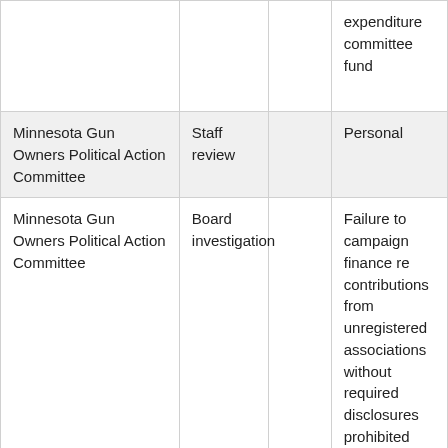|  |  |  | expenditure committee fund |
| Minnesota Gun Owners Political Action Committee | Staff review |  | Personal |
| Minnesota Gun Owners Political Action Committee | Board investigation |  | Failure to campaign finance re contributions from unregistered associations without required disclosures prohibited contributions independent expenditure committee fund |
| Minnesota Gun Owners Support Fund | Board investigation |  | Failure to campaign finance re contributions |